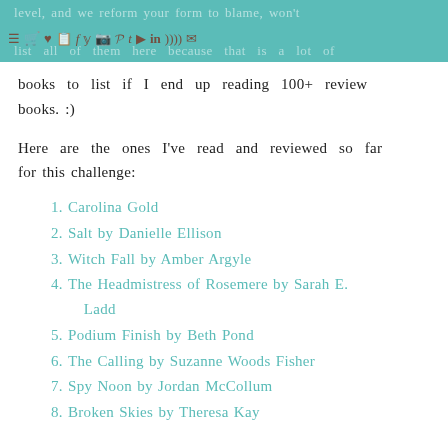level, and we reform your form to blame, won't list all of them here because that is a lot of
books to list if I end up reading 100+ review books. :)
Here are the ones I've read and reviewed so far for this challenge:
Carolina Gold
Salt by Danielle Ellison
Witch Fall by Amber Argyle
The Headmistress of Rosemere by Sarah E. Ladd
Podium Finish by Beth Pond
The Calling by Suzanne Woods Fisher
Spy Noon by Jordan McCollum
Broken Skies by Theresa Kay